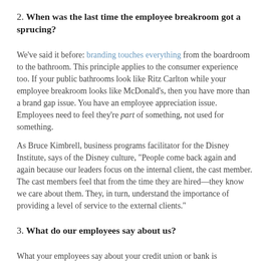2. When was the last time the employee breakroom got a sprucing?
We've said it before: branding touches everything from the boardroom to the bathroom. This principle applies to the consumer experience too. If your public bathrooms look like Ritz Carlton while your employee breakroom looks like McDonald's, then you have more than a brand gap issue. You have an employee appreciation issue. Employees need to feel they're part of something, not used for something.
As Bruce Kimbrell, business programs facilitator for the Disney Institute, says of the Disney culture, “People come back again and again because our leaders focus on the internal client, the cast member. The cast members feel that from the time they are hired—they know we care about them. They, in turn, understand the importance of providing a level of service to the external clients.”
3. What do our employees say about us?
What your employees say about your credit union or bank is